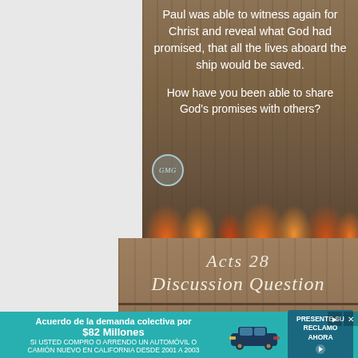[Figure (illustration): Top card with wood-texture background and autumn flowers, showing text about Paul witnessing for Christ and sharing God's promises.]
Paul was able to witness again for Christ and reveal what God had promised, that all the lives aboard the ship would be saved.
How have you been able to share God's promises with others?
[Figure (illustration): Bottom card with wood-texture background. Header reads Acts 28 Discussion Question. Body text about Paul sharing his testimony.]
Acts 28 Discussion Question
No matter where Paul went or was taken, he shared his testimony and allowed God to work through him.
Where has God given you the
Acuerdo de la demanda colectiva por $82 Millones SI USTED COMPRO O ARRENDO UN AUTOMÓVIL O CAMIÓN NUEVO EN CALIFORNIA DESDE 2001 A 2003 PRESENTE SU RECLAMO AHORA